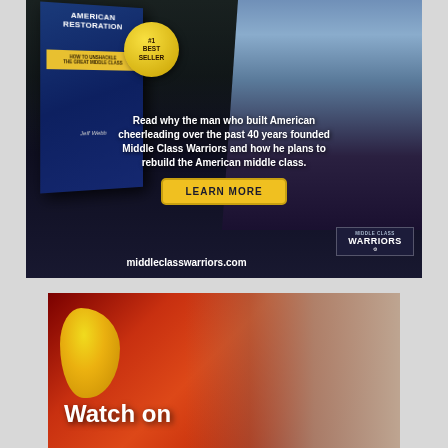[Figure (photo): Advertisement for Middle Class Warriors / American Restoration book by Jeff Webb. Dark background with a man in a light blue shirt standing with arms crossed on the right, a book cover on the left showing 'American Restoration' with a #1 Best Seller badge. Text reads 'Read why the man who built American cheerleading over the past 40 years founded Middle Class Warriors and how he plans to rebuild the American middle class.' with a 'LEARN MORE' yellow button and 'middleclasswarriors.com' URL.]
[Figure (photo): Partial advertisement showing close-up of an older man's face on red background with text 'Watch on' visible at the bottom left.]